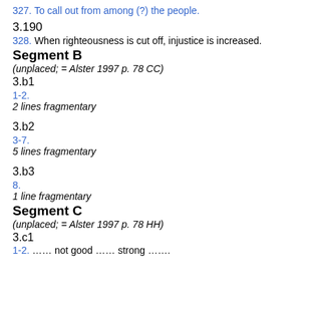327. To call out from among (?) the people.
3.190
328. When righteousness is cut off, injustice is increased.
Segment B
(unplaced; = Alster 1997 p. 78 CC)
3.b1
1-2.
2 lines fragmentary
3.b2
3-7.
5 lines fragmentary
3.b3
8.
1 line fragmentary
Segment C
(unplaced; = Alster 1997 p. 78 HH)
3.c1
1-2. …… not good …… strong …….